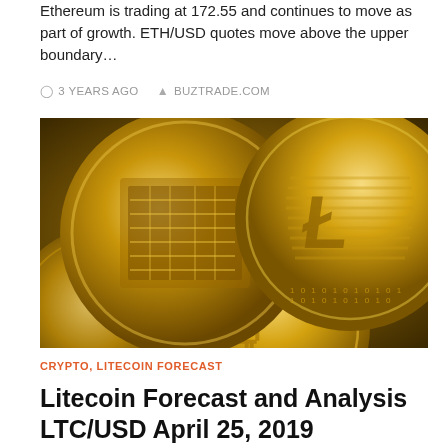Ethereum is trading at 172.55 and continues to move as part of growth. ETH/USD quotes move above the upper boundary…
3 YEARS AGO   BUZTRADE.COM
[Figure (photo): Close-up photo of gold cryptocurrency coins including Bitcoin and Litecoin, with detailed engravings on the coin faces, shown in warm golden tones.]
CRYPTO, LITECOIN FORECAST
Litecoin Forecast and Analysis LTC/USD April 25, 2019